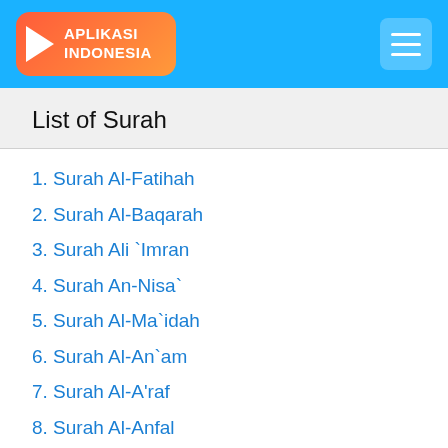APLIKASI INDONESIA
List of Surah
1. Surah Al-Fatihah
2. Surah Al-Baqarah
3. Surah Ali `Imran
4. Surah An-Nisa`
5. Surah Al-Ma`idah
6. Surah Al-An`am
7. Surah Al-A'raf
8. Surah Al-Anfal
9. Surah At-Taubah
10. Surah Yunus
11. Surah Hud
12. Surah Yusuf